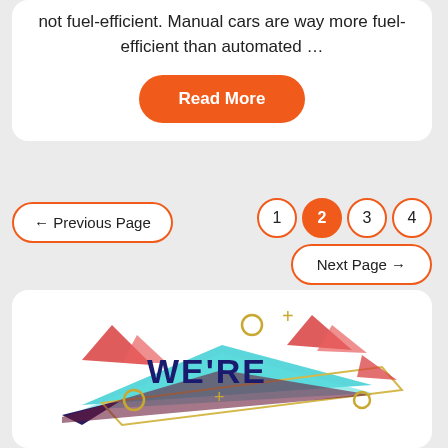not fuel-efficient. Manual cars are way more fuel-efficient than automated …
Read More
← Previous Page
1
2
3
4
Next Page →
[Figure (illustration): Decorative banner graphic with paper airplane and 'WE'RE' text, colorful origami-style design with red triangles and teal shapes]